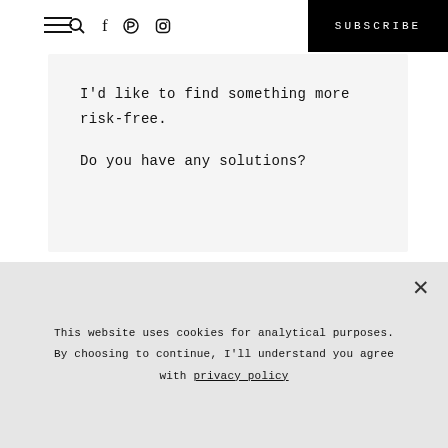SUBSCRIBE
I'd like to find something more risk-free.
Do you have any solutions?
JUDI CASINO
This website uses cookies for analytical purposes. By choosing to continue, I'll understand you agree with privacy policy